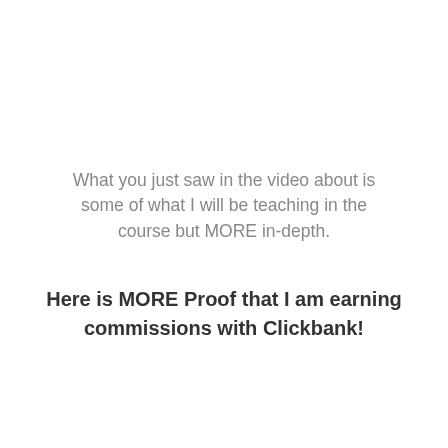What you just saw in the video about is some of what I will be teaching in the course but MORE in-depth.
Here is MORE Proof that I am earning commissions with Clickbank!